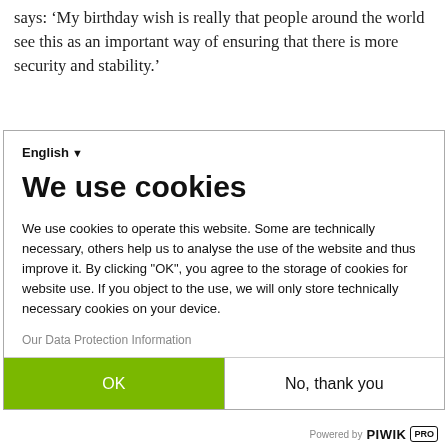says: ‘My birthday wish is really that people around the world see this as an important way of ensuring that there is more security and stability.’
[Figure (screenshot): Cookie consent banner overlay with language selector (English), title 'We use cookies', explanatory text, data protection link, and two buttons: OK (green) and No, thank you (white). Powered by PIWIK PRO branding at bottom right.]
Powered by PIWIK PRO